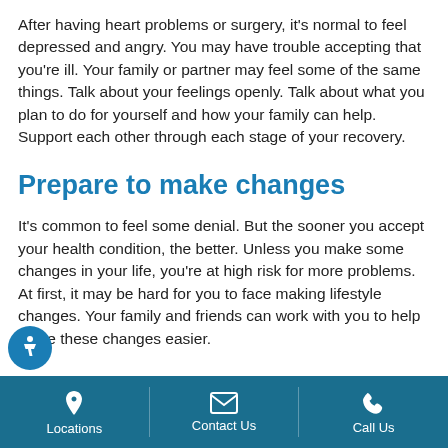After having heart problems or surgery, it's normal to feel depressed and angry. You may have trouble accepting that you're ill. Your family or partner may feel some of the same things. Talk about your feelings openly. Talk about what you plan to do for yourself and how your family can help. Support each other through each stage of your recovery.
Prepare to make changes
It's common to feel some denial. But the sooner you accept your health condition, the better. Unless you make some changes in your life, you're at high risk for more problems. At first, it may be hard for you to face making lifestyle changes. Your family and friends can work with you to help make these changes easier.
Locations | Contact Us | Call Us